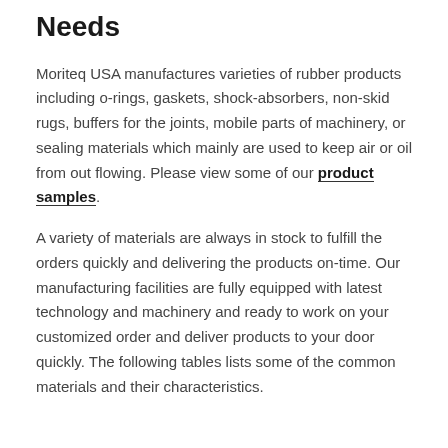Needs
Moriteq USA manufactures varieties of rubber products including o-rings, gaskets, shock-absorbers, non-skid rugs, buffers for the joints, mobile parts of machinery, or sealing materials which mainly are used to keep air or oil from out flowing. Please view some of our product samples.
A variety of materials are always in stock to fulfill the orders quickly and delivering the products on-time. Our manufacturing facilities are fully equipped with latest technology and machinery and ready to work on your customized order and deliver products to your door quickly. The following tables lists some of the common materials and their characteristics.